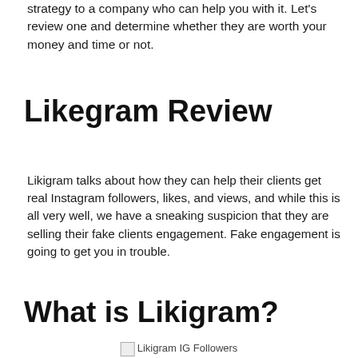strategy to a company who can help you with it. Let's review one and determine whether they are worth your money and time or not.
Likegram Review
Likigram talks about how they can help their clients get real Instagram followers, likes, and views, and while this is all very well, we have a sneaking suspicion that they are selling their fake clients engagement. Fake engagement is going to get you in trouble.
What is Likigram?
Likigram IG Followers